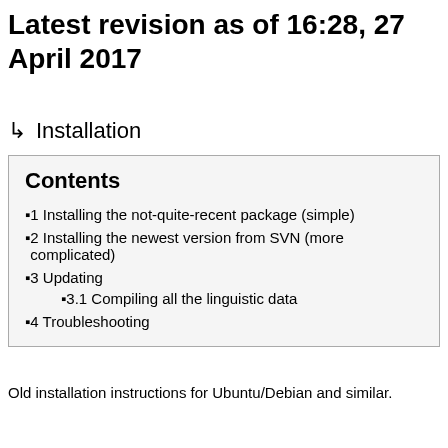Latest revision as of 16:28, 27 April 2017
↳  Installation
1  Installing the not-quite-recent package (simple)
2  Installing the newest version from SVN (more complicated)
3  Updating
3.1  Compiling all the linguistic data
4  Troubleshooting
Old installation instructions for Ubuntu/Debian and similar.